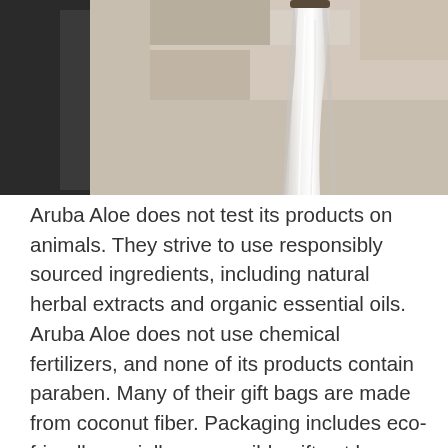[Figure (photo): Close-up photo of water flowing from a faucet or tap, with blurred background showing dark and light toned surfaces.]
Aruba Aloe does not test its products on animals. They strive to use responsibly sourced ingredients, including natural herbal extracts and organic essential oils. Aruba Aloe does not use chemical fertilizers, and none of its products contain paraben. Many of their gift bags are made from coconut fiber. Packaging includes eco-friendly, socially responsible gift set boxes. Recycled paper is used for shopping bags and packing materials. The tour ended downstairs in